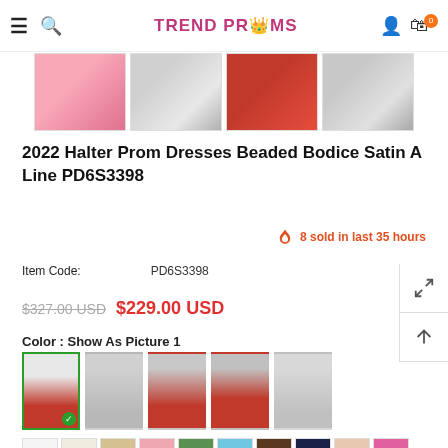TREND PROMS
[Figure (photo): Thumbnail strip showing 4 prom dress detail photos: pink dress skirt, silver beaded bodice, red satin dress, silver beaded detail]
2022 Halter Prom Dresses Beaded Bodice Satin A Line PD6S3398
8 sold in last 35 hours
Item Code: PD6S3398
$327.00 USD  $229.00 USD
Color : Show As Picture 1
[Figure (photo): 5 dress color option thumbnails: red (selected with green checkmark), silver/grey, dark red, red/silver, grey]
[Figure (photo): Row of 10 fabric swatch color samples: white, ivory, champagne, blush pink, green, sky blue, brown, navy, nude, hot pink]
[Figure (photo): Partial row of fabric swatch color samples: blush, khaki, lime green, purple, dark navy, teal, crimson, olive]